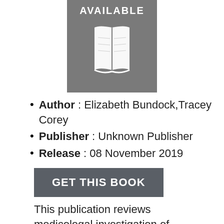[Figure (illustration): Gray square book cover placeholder with 'AVAILABLE' text at top and an open book icon in white]
Author : Elizabeth Bundock,Tracey Corey
Publisher : Unknown Publisher
Release : 08 November 2019
GET THIS BOOK
This publication reviews medicolegal investigation of sudden, unexpected pediatric deaths, focusing on systems and procedures in the United States and those deaths which remain incompletely understood or entirely unexplained. It discusses the evolution of our understanding